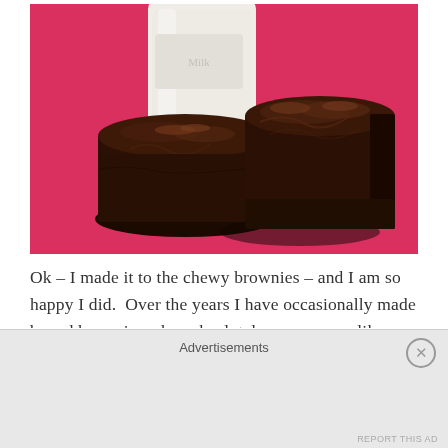[Figure (photo): Photo of two chocolate brownies leaning against each other on a bright pink/red background, with a white milk bottle or jar visible behind them.]
Ok – I made it to the chewy brownies – and I am so happy I did.  Over the years I have occasionally made boxed brownies when absolutely necessary – like when we went to the Washington coast for a
Advertisements